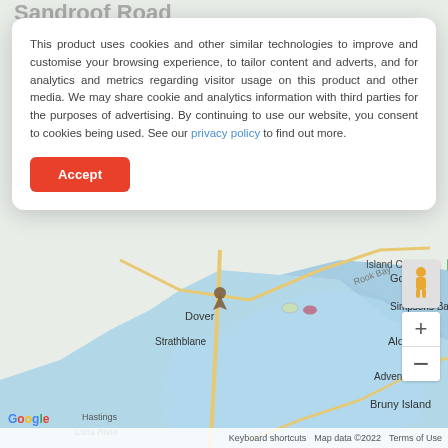Sandroof Road
[Figure (map): Google Maps view showing Dover, Strathblane, Gordon, Simpsons Bay, Alonnah, Adventure Bay, Bruny Island, Hastings area in Tasmania, Australia. Map shows water bodies, roads, and place names. Includes zoom controls and pegman icon.]
This product uses cookies and other similar technologies to improve and customise your browsing experience, to tailor content and adverts, and for analytics and metrics regarding visitor usage on this product and other media. We may share cookie and analytics information with third parties for the purposes of advertising. By continuing to use our website, you consent to cookies being used. See our privacy policy to find out more.
Accept
Keyboard shortcuts   Map data ©2022   Terms of Use